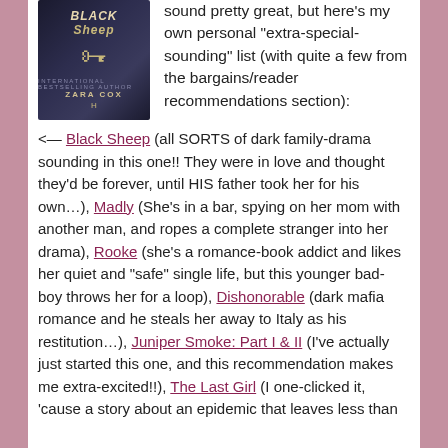[Figure (illustration): Book cover of 'Black Sheep' by Zara Cox, dark background with a gold ornate key]
sound pretty great, but here's my own personal "extra-special-sounding" list (with quite a few from the bargains/reader recommendations section):
<— Black Sheep (all SORTS of dark family-drama sounding in this one!! They were in love and thought they'd be forever, until HIS father took her for his own…), Madly (She's in a bar, spying on her mom with another man, and ropes a complete stranger into her drama), Rooke (she's a romance-book addict and likes her quiet and "safe" single life, but this younger bad-boy throws her for a loop), Dishonorable (dark mafia romance and he steals her away to Italy as his restitution…), Juniper Smoke: Part I & II (I've actually just started this one, and this recommendation makes me extra-excited!!), The Last Girl (I one-clicked it, 'cause a story about an epidemic that leaves less than